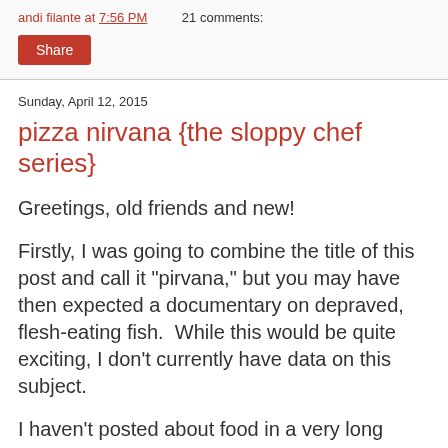andi filante at 7:56 PM    21 comments:
Share
Sunday, April 12, 2015
pizza nirvana {the sloppy chef series}
Greetings, old friends and new!
Firstly, I was going to combine the title of this post and call it "pirvana," but you may have then expected a documentary on depraved, flesh-eating fish.  While this would be quite exciting, I don't currently have data on this subject.
I haven't posted about food in a very long time.  This is due to the fact I mostly eat everything before my food has a chance to pose for my Nikon point-and-shoot.